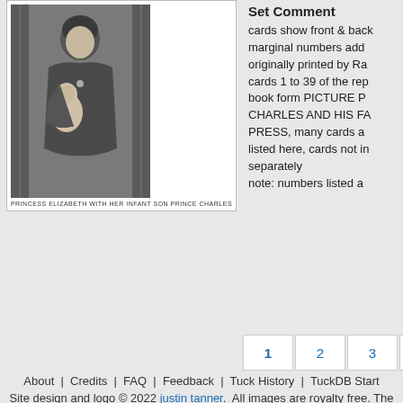[Figure (photo): Black and white photograph of Princess Elizabeth holding infant son Prince Charles, seated indoors]
PRINCESS ELIZABETH WITH HER INFANT SON PRINCE CHARLES
Set Comment
cards show front & back marginal numbers added originally printed by Ra cards 1 to 39 of the rep book form PICTURE P CHARLES AND HIS FA PRESS, many cards a listed here, cards not in separately note: numbers listed a
1
2
3
4
5
6
7
8
9
Next
About | Credits | FAQ | Feedback | Tuck History | TuckDB Start
Site design and logo © 2022 justin tanner. All images are royalty free. The